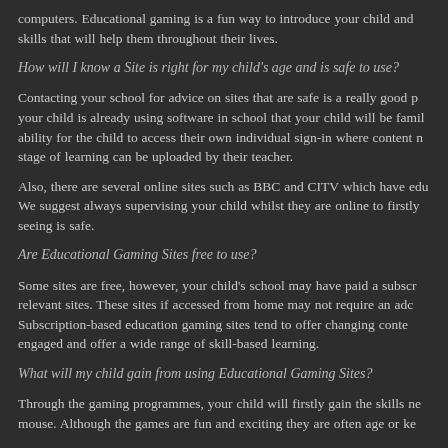computers. Educational gaming is a fun way to introduce your child and skills that will help them throughout their lives.
How will I know a Site is right for my child's age and is safe to use?
Contacting your school for advice on sites that are safe is a really good p... your child is already using software in school that your child will be fami... ability for the child to access their own individual sign-in where content n... stage of learning can be uploaded by their teacher.
Also, there are several online sites such as BBC and CITV which have edu... We suggest always supervising your child whilst they are online to firstly... seeing is safe.
Are Educational Gaming Sites free to use?
Some sites are free, however, your child's school may have paid a subscr... relevant sites. These sites if accessed from home may not require an adc... Subscription-based education gaming sites tend to offer changing conte... engaged and offer a wide range of skill-based learning.
What will my child gain from using Educational Gaming Sites?
Through the gaming programmes, your child will firstly gain the skills ne... mouse. Although the games are fun and exciting they are often age or k...